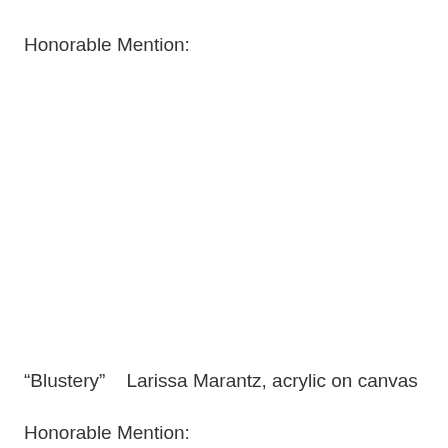Honorable Mention:
“Blustery”    Larissa Marantz, acrylic on canvas
Honorable Mention: